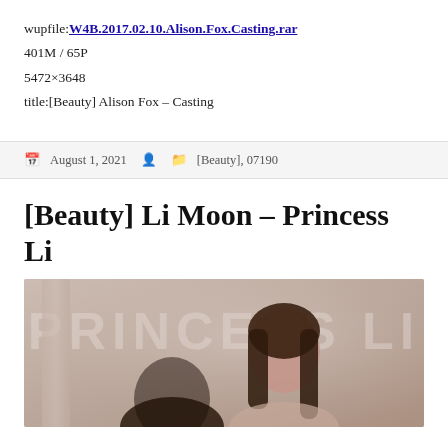wupfile:W4B.2017.02.10.Alison.Fox.Casting.rar
401M / 65P
5472×3648
title:[Beauty] Alison Fox – Casting
August 1, 2021   [Beauty], 07190
[Beauty] Li Moon – Princess Li
[Figure (photo): Photo with watermark text PRINCESS LI, showing two female figures against a light ornate background with a pillar on the left side.]